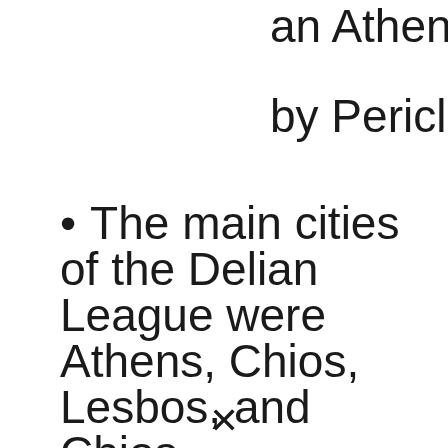an Athenian Empire by Pericles.
The main cities of the Delian League were Athens, Chios, Lesbos, and Chios.